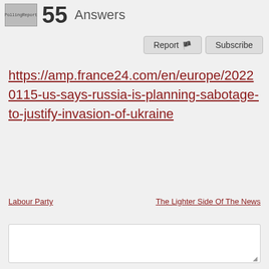55 Answers
Report  Subscribe
https://amp.france24.com/en/europe/20220115-us-says-russia-is-planning-sabotage-to-justify-invasion-of-ukraine
Labour Party
The Lighter Side Of The News
[Figure (other): Comment text input box]